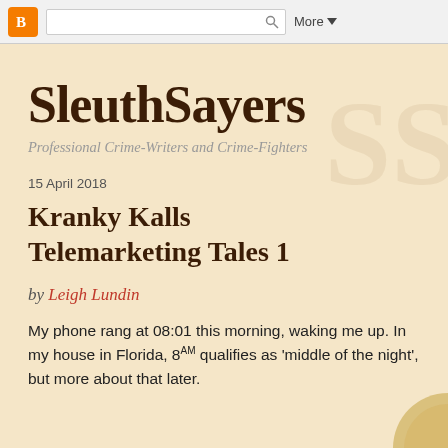Blogger toolbar with search bar and More button
SleuthSayers
Professional Crime-Writers and Crime-Fighters
15 April 2018
Kranky Kalls Telemarketing Tales 1
by Leigh Lundin
My phone rang at 08:01 this morning, waking me up. In my house in Florida, 8AM qualifies as 'middle of the night', but more about that later.